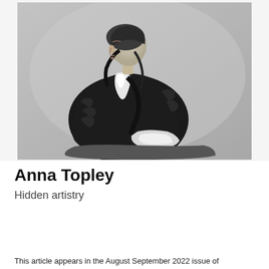[Figure (photo): Black and white portrait photograph of Anna Topley, a woman seated in profile view (facing left), wearing a dark fur-trimmed jacket or cape with white ruffled collar/jabot, a dark head covering with ribbons, and holding what appears to be white fabric or gloves in her lap. The background is plain and light-toned, typical of 19th century studio photography.]
Anna Topley
Hidden artistry
This article appears in the August September 2022 issue of